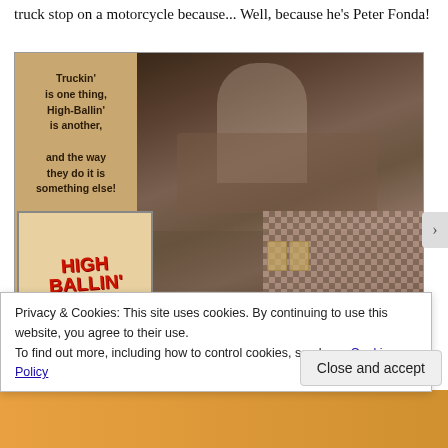truck stop on a motorcycle because... Well, because he's Peter Fonda!
[Figure (photo): Movie lobby card / promotional poster for 'High Ballin'' featuring a bar scene with a woman standing over a man sitting at a checkered tablecloth table, with beer mugs visible. Left side shows poster text: 'Truckin' is one thing, High-Ballin' is another, and the way they do it is something else!' An inset smaller poster shows the 'HIGH BALLIN'' title logo in red. Bottom credits show 'PETER FONDA' and 'JERRY REED'.]
Privacy & Cookies: This site uses cookies. By continuing to use this website, you agree to their use.
To find out more, including how to control cookies, see here: Cookie Policy
Close and accept